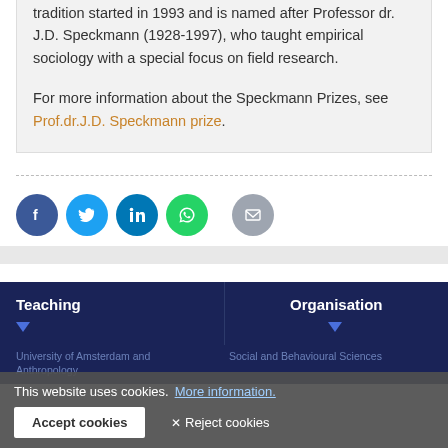tradition started in 1993 and is named after Professor dr. J.D. Speckmann (1928-1997), who taught empirical sociology with a special focus on field research.
For more information about the Speckmann Prizes, see Prof.dr.J.D. Speckmann prize.
[Figure (other): Social sharing buttons: Facebook, Twitter, LinkedIn, WhatsApp, Email]
Teaching
Organisation
This website uses cookies. More information.
Accept cookies  Reject cookies